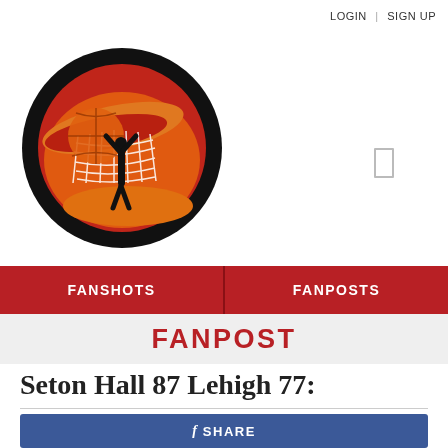LOGIN | SIGN UP
[Figure (logo): Basketball fansite logo: black circle with orange and red basketball hoop graphic and player silhouette dunking]
FANSHOTS
FANPOSTS
FANPOST
Seton Hall 87 Lehigh 77:
f SHARE